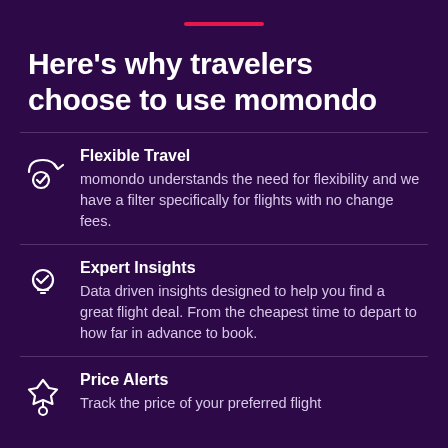[Figure (illustration): Pink horizontal line decorative accent]
Here's why travelers choose to use momondo
Flexible Travel
momondo understands the need for flexibility and we have a filter specifically for flights with no change fees.
Expert Insights
Data driven insights designed to help you find a great flight deal. From the cheapest time to depart to how far in advance to book.
Price Alerts
Track the price of your preferred flight